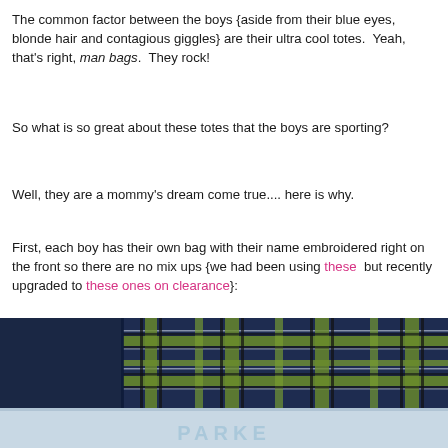The common factor between the boys {aside from their blue eyes, blonde hair and contagious giggles} are their ultra cool totes.  Yeah, that's right, man bags.  They rock!
So what is so great about these totes that the boys are sporting?
Well, they are a mommy’s dream come true.... here is why.
First, each boy has their own bag with their name embroidered right on the front so there are no mix ups {we had been using these but recently upgraded to these ones on clearance}:
[Figure (photo): Close-up photo of a plaid tote bag in navy, green, black and white plaid pattern, with a lower portion showing an embroidered name 'PARKER' in light blue/white text on a navy background.]